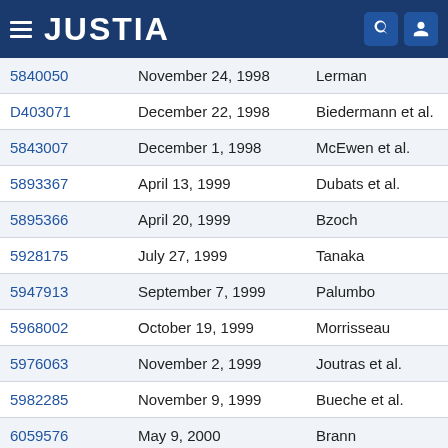JUSTIA
| Patent No. | Date | Inventor |
| --- | --- | --- |
| 5840050 | November 24, 1998 | Lerman |
| D403071 | December 22, 1998 | Biedermann et al. |
| 5843007 | December 1, 1998 | McEwen et al. |
| 5893367 | April 13, 1999 | Dubats et al. |
| 5895366 | April 20, 1999 | Bzoch |
| 5928175 | July 27, 1999 | Tanaka |
| 5947913 | September 7, 1999 | Palumbo |
| 5968002 | October 19, 1999 | Morrisseau |
| 5976063 | November 2, 1999 | Joutras et al. |
| 5982285 | November 9, 1999 | Bueche et al. |
| 6059576 | May 9, 2000 | Brann |
| 6119516 | September 19, 2000 | Hock |